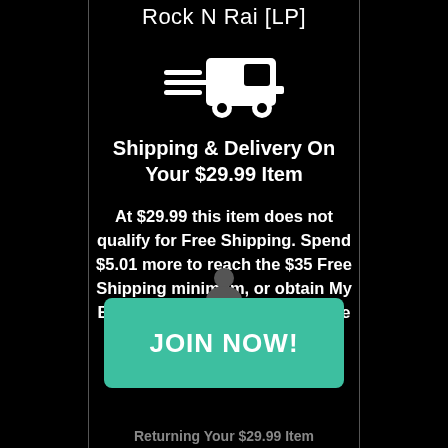Rock N Rai [LP]
[Figure (illustration): White delivery truck icon with speed lines on black background]
Shipping & Delivery On Your $29.99 Item
At $29.99 this item does not qualify for Free Shipping. Spend $5.01 more to reach the $35 Free Shipping minimum, or obtain My Best Buy Elite status to get Free Shipping with no minimum purchase required.
[Figure (illustration): Partial person/profile icon above Join Now button]
JOIN NOW!
Returning Your $29.99 Item